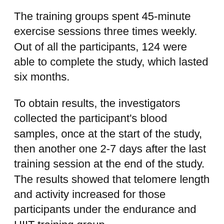The training groups spent 45-minute exercise sessions three times weekly. Out of all the participants, 124 were able to complete the study, which lasted six months.
To obtain results, the investigators collected the participant's blood samples, once at the start of the study, then another one 2-7 days after the last training session at the end of the study. The results showed that telomere length and activity increased for those participants under the endurance and HIIT training group.